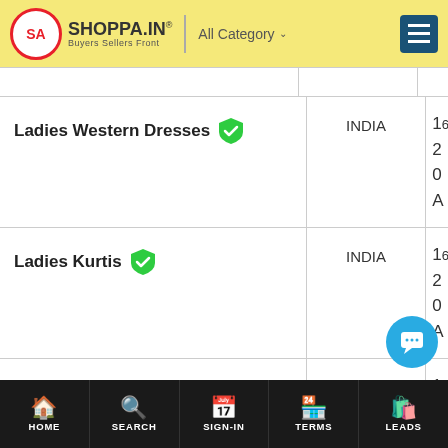SHOPPA.IN | Buyers Sellers Front | All Category
| Product | Country | Date |
| --- | --- | --- |
| Ladies Western Dresses | INDIA | 16 2 0 A |
| Ladies Kurtis | INDIA | 16 2 0 A |
| Ladies Kurtis | INDIA | 16 2 0 A |
HOME | SEARCH | SIGN-IN | TERMS | LEADS